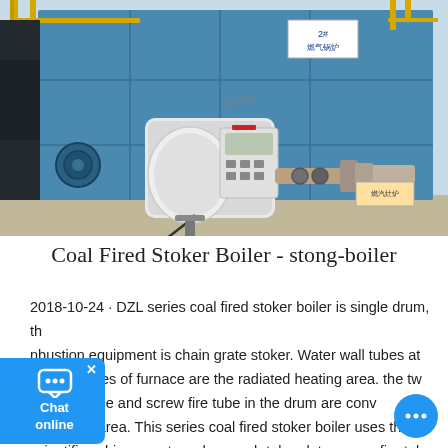[Figure (photo): Industrial gas/coal fired boiler in a factory setting. Large blue rectangular boiler unit with yellow safety railings on top, blue circular access ports on the side, a white burner control unit mounted on the front with a digital display panel and control buttons, connected piping system with valves and gauges, and Chinese text labels on signboards reading '2# 燃气锅炉' and another small sign. Factory floor and white wall visible in background.]
Coal Fired Stoker Boiler - stong-boiler
2018-10-24 · DZL series coal fired stoker boiler is single drum, the combustion equipment is chain grate stoker. Water wall tubes at left and right sides of furnace are the radiated heating area. the two-pass flue gas at furnace and screw fire tube in the drum are convection heating area. This series coal fired stoker boiler uses the latest scientific achievement, such as arch tube plate, screw fire tube to